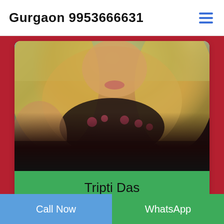Gurgaon 9953666631
[Figure (photo): Photo of a blonde woman in a black floral bralette, posed in a car seat, cropped portrait style.]
Tripti Das
Verified Escorts
Call Now | WhatsApp